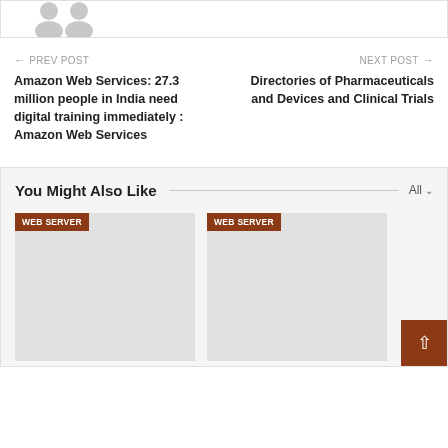[Figure (photo): Partial view of avatar/person placeholder image at the top, grey silhouette]
← PREV POST
NEXT POST →
Amazon Web Services: 27.3 million people in India need digital training immediately : Amazon Web Services
Directories of Pharmaceuticals and Devices and Clinical Trials
You Might Also Like
[Figure (screenshot): WEB SERVER tagged card thumbnail placeholder, grey background]
[Figure (screenshot): WEB SERVER tagged card thumbnail placeholder, grey background]